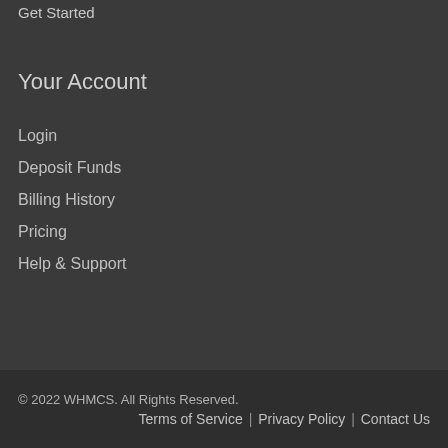Get Started
Your Account
Login
Deposit Funds
Billing History
Pricing
Help & Support
© 2022 WHMCS. All Rights Reserved.
Terms of Service | Privacy Policy | Contact Us